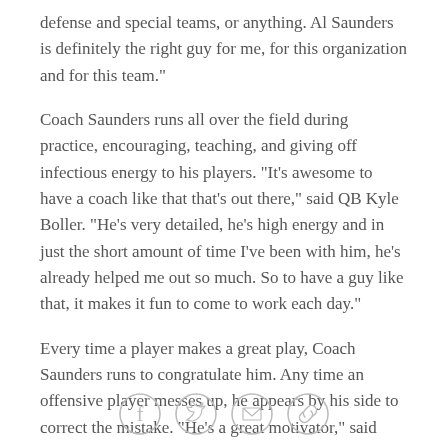defense and special teams, or anything. Al Saunders is definitely the right guy for me, for this organization and for this team."
Coach Saunders runs all over the field during practice, encouraging, teaching, and giving off infectious energy to his players. "It's awesome to have a coach like that that's out there," said QB Kyle Boller. "He's very detailed, he's high energy and in just the short amount of time I've been with him, he's already helped me out so much. So to have a guy like that, it makes it fun to come to work each day."
Every time a player makes a great play, Coach Saunders runs to congratulate him. Any time an offensive player messes up, he appears by his side to correct the mistake. "He's a great motivator," said WR
[Figure (other): Social sharing icons: Facebook, Twitter, Email, Link]